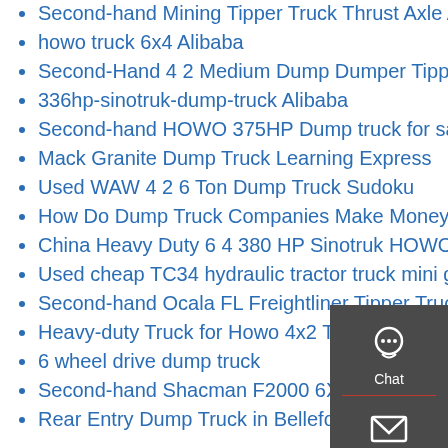Second-hand Mining Tipper Truck Thrust Axle Assembly for Shacman Delong
howo truck 6x4 Alibaba
Second-Hand 4 2 Medium Dump Dumper Tipper Truck
336hp-sinotruk-dump-truck Alibaba
Second-hand HOWO 375HP Dump truck for sale China Shanghai
Mack Granite Dump Truck Learning Express
Used WAW 4 2 6 Ton Dump Truck Sudoku
How Do Dump Truck Companies Make Money Knap Well
China Heavy Duty 6 4 380 HP Sinotruk HOWO Tractor Truck
Used cheap TC34 hydraulic tractor truck mini grua with 3 4m
Second-hand Ocala FL Freightliner Tipper Trucks
Heavy-duty Truck for Howo 4x2 Tractor Truck zz4187m3511W
6 wheel drive dump truck
Second-hand Shacman F2000 6X4 20 Tons 420HP Dump Truck Dump
Rear Entry Dump Truck in Bellefonte China Supplier
[Figure (infographic): Sidebar panel with dark gray background showing Chat, Email, Contact, and Top navigation icons]